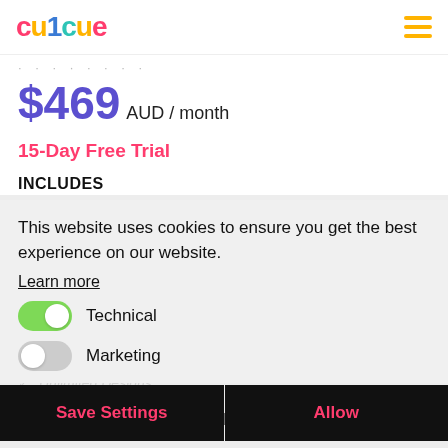cu1cue
$469 AUD / month
15-Day Free Trial
INCLUDES
Motion graphic design
This website uses cookies to ensure you get the best experience on our website.
Learn more
Technical
Marketing
Save Settings
Allow
Add Unlimited Team Members